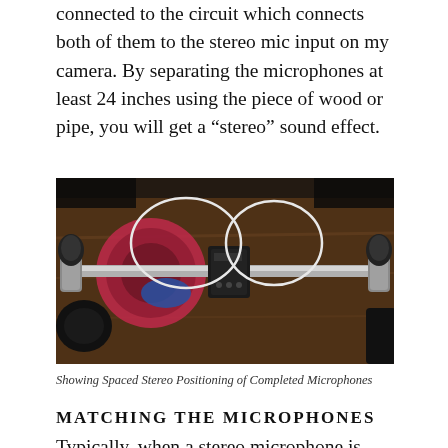connected to the circuit which connects both of them to the stereo mic input on my camera. By separating the microphones at least 24 inches using the piece of wood or pipe, you will get a “stereo” sound effect.
[Figure (photo): Photo showing two microphones mounted at each end of a horizontal metal bar/pipe, with a black electronic module in the center, wires looped around, all resting on a wooden surface. Spaced stereo microphone setup.]
Showing Spaced Stereo Positioning of Completed Microphones
MATCHING THE MICROPHONES
Typically, when a stereo microphone is built